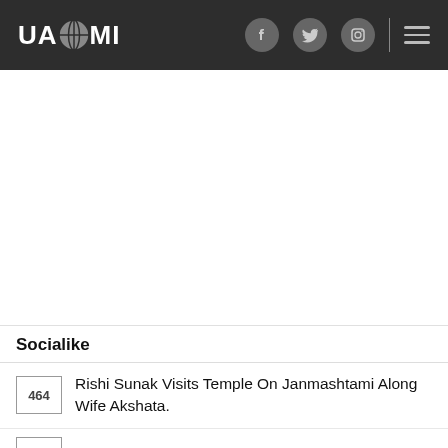UAZMI — navigation header with Facebook, Twitter, Instagram icons and menu
[Figure (other): Blank advertisement/content area]
Socialike
464  Rishi Sunak Visits Temple On Janmashtami Along Wife Akshata.
(partial row at bottom)